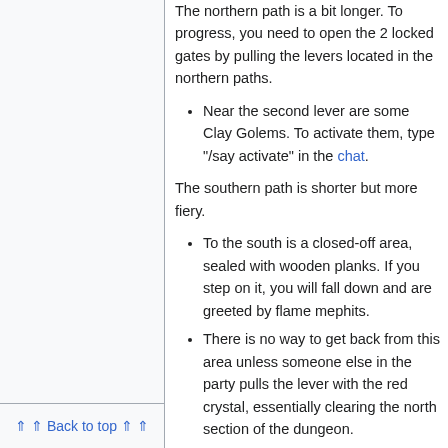The northern path is a bit longer. To progress, you need to open the 2 locked gates by pulling the levers located in the northern paths.
Near the second lever are some Clay Golems. To activate them, type "/say activate" in the chat.
The southern path is shorter but more fiery.
To the south is a closed-off area, sealed with wooden planks. If you step on it, you will fall down and are greeted by flame mephits.
There is no way to get back from this area unless someone else in the party pulls the lever with the red crystal, essentially clearing the north section of the dungeon.
Going forward (east), you arrive at a
⇑  ⇑  Back to top  ⇑  ⇑